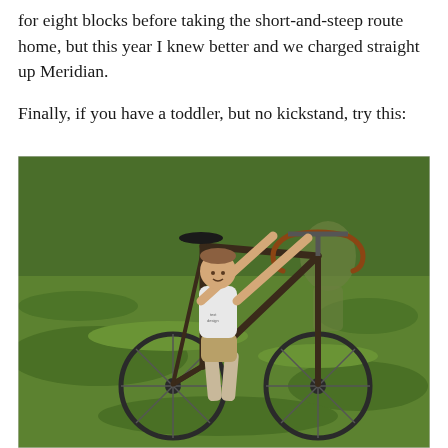for eight blocks before taking the short-and-steep route home, but this year I knew better and we charged straight up Meridian.

Finally, if you have a toddler, but no kickstand, try this:
[Figure (photo): A young child standing on grass, holding up a large adult bicycle (road bike) by the handlebars above their head, on a green grassy hillside. The child is wearing a white t-shirt and khaki shorts.]